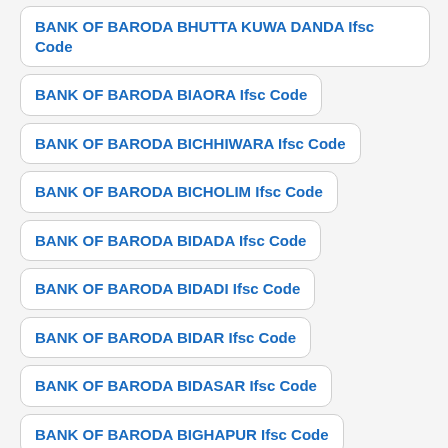BANK OF BARODA BHUTTA KUWA DANDA Ifsc Code
BANK OF BARODA BIAORA Ifsc Code
BANK OF BARODA BICHHIWARA Ifsc Code
BANK OF BARODA BICHOLIM Ifsc Code
BANK OF BARODA BIDADA Ifsc Code
BANK OF BARODA BIDADI Ifsc Code
BANK OF BARODA BIDAR Ifsc Code
BANK OF BARODA BIDASAR Ifsc Code
BANK OF BARODA BIGHAPUR Ifsc Code
BANK OF BARODA BIGRI Ifsc Code